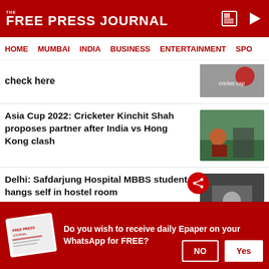THE FREE PRESS JOURNAL
HOME  MUMBAI  INDIA  BUSINESS  ENTERTAINMENT  SPO...
check here
Asia Cup 2022: Cricketer Kinchit Shah proposes partner after India vs Hong Kong clash
Delhi: Safdarjung Hospital MBBS student hangs self in hostel room
Do you wish to receive daily Epaper on your WhatsApp for FREE?